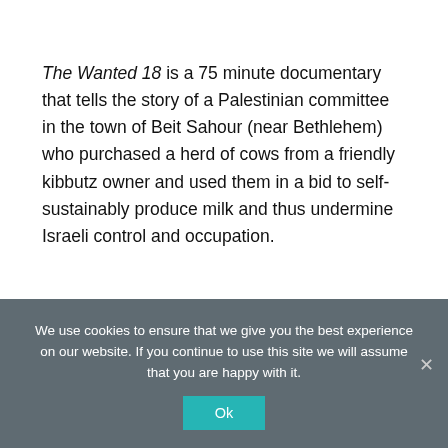The Wanted 18 is a 75 minute documentary that tells the story of a Palestinian committee in the town of Beit Sahour (near Bethlehem) who purchased a herd of cows from a friendly kibbutz owner and used them in a bid to self-sustainably produce milk and thus undermine Israeli control and occupation.
We use cookies to ensure that we give you the best experience on our website. If you continue to use this site we will assume that you are happy with it.